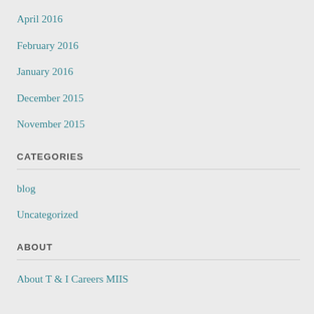April 2016
February 2016
January 2016
December 2015
November 2015
CATEGORIES
blog
Uncategorized
ABOUT
About T & I Careers MIIS